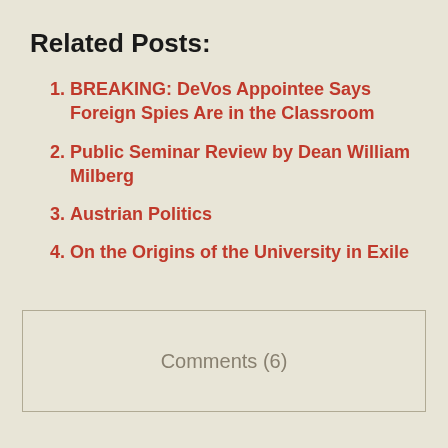Related Posts:
BREAKING: DeVos Appointee Says Foreign Spies Are in the Classroom
Public Seminar Review by Dean William Milberg
Austrian Politics
On the Origins of the University in Exile
Comments (6)